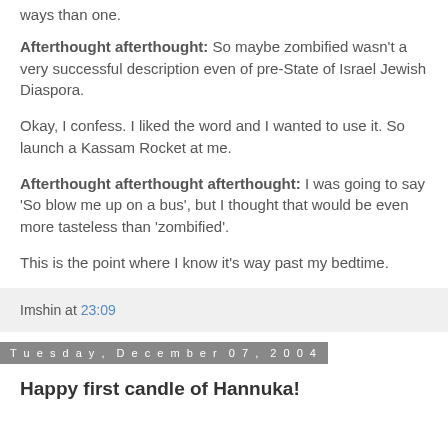ways than one.
Afterthought afterthought: So maybe zombified wasn't a very successful description even of pre-State of Israel Jewish Diaspora.
Okay, I confess. I liked the word and I wanted to use it. So launch a Kassam Rocket at me.
Afterthought afterthought afterthought: I was going to say 'So blow me up on a bus', but I thought that would be even more tasteless than 'zombified'.
This is the point where I know it's way past my bedtime.
Imshin at 23:09
Tuesday, December 07, 2004
Happy first candle of Hannuka!